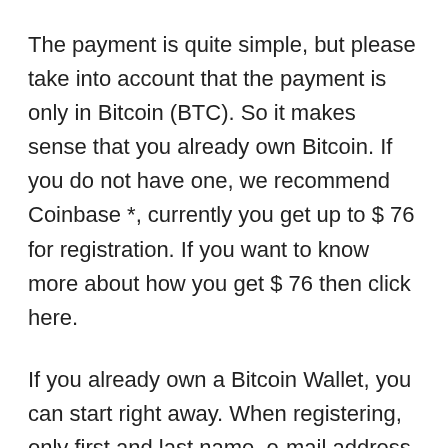The payment is quite simple, but please take into account that the payment is only in Bitcoin (BTC). So it makes sense that you already own Bitcoin. If you do not have one, we recommend Coinbase *, currently you get up to $ 76 for registration. If you want to know more about how you get $ 76 then click here.
If you already own a Bitcoin Wallet, you can start right away. When registering, only first and last name, e-mail address and place of residence are requested. Thus, the registration is quite simple and should not be too challenging for beginners.
Result